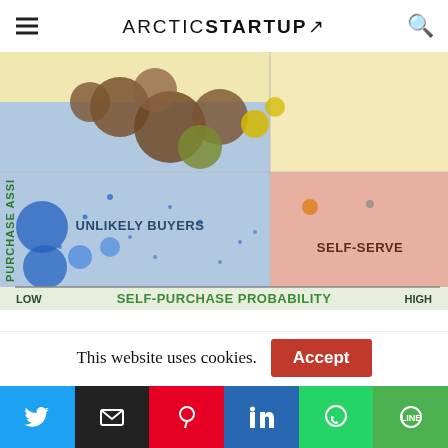ARCTIC STARTUP
[Figure (scatter-plot): Bubble chart with quadrants: top-left (blue, large bubbles, brown/olive/yellow colors) labeled UNLIKELY BUYERS, bottom-right (salmon/pink) labeled SELF-SERVE. X-axis: SELF-PURCHASE PROBABILITY (LOW to HIGH). Y-axis: PURCHASE ASSI[STANCE]. Additional top-right (yellow/cream) and top areas visible.]
Stockholm-based Now Interact has raised $5 million A round from SEB Venture Capital, Inventure, and Industrifonden to develop the product and drive U.S.
This website uses cookies.
Accept